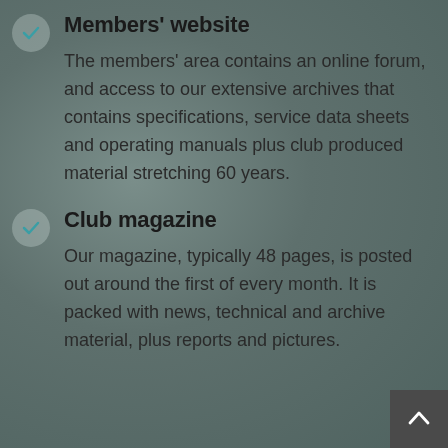Members' website
The members' area contains an online forum, and access to our extensive archives that contains specifications, service data sheets and operating manuals plus club produced material stretching 60 years.
Club magazine
Our magazine, typically 48 pages, is posted out around the first of every month. It is packed with news, technical and archive material, plus reports and pictures.